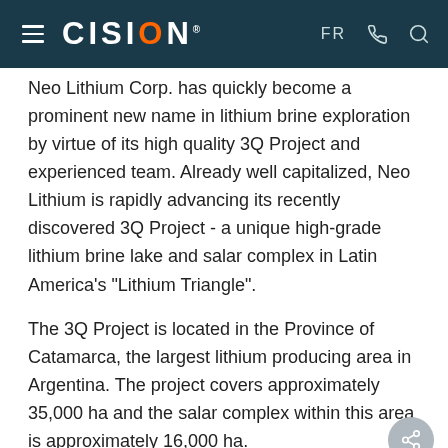CISION
Neo Lithium Corp. has quickly become a prominent new name in lithium brine exploration by virtue of its high quality 3Q Project and experienced team. Already well capitalized, Neo Lithium is rapidly advancing its recently discovered 3Q Project - a unique high-grade lithium brine lake and salar complex in Latin America's "Lithium Triangle".
The 3Q Project is located in the Province of Catamarca, the largest lithium producing area in Argentina. The project covers approximately 35,000 ha and the salar complex within this area is approximately 16,000 ha.